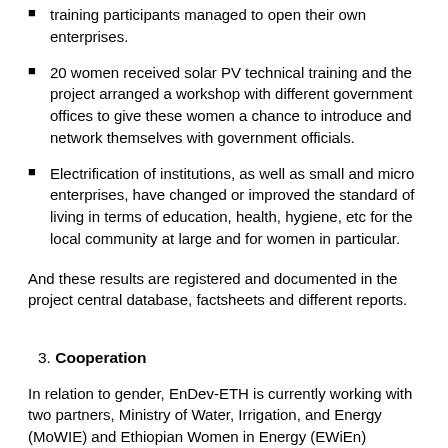training participants managed to open their own enterprises.
20 women received solar PV technical training and the project arranged a workshop with different government offices to give these women a chance to introduce and network themselves with government officials.
Electrification of institutions, as well as small and micro enterprises, have changed or improved the standard of living in terms of education, health, hygiene, etc for the local community at large and for women in particular.
And these results are registered and documented in the project central database, factsheets and different reports.
3. Cooperation
In relation to gender, EnDev-ETH is currently working with two partners, Ministry of Water, Irrigation, and Energy (MoWIE) and Ethiopian Women in Energy (EWiEn) Association, focusing on how EnDev-ETH and their office can work together in achieving gender